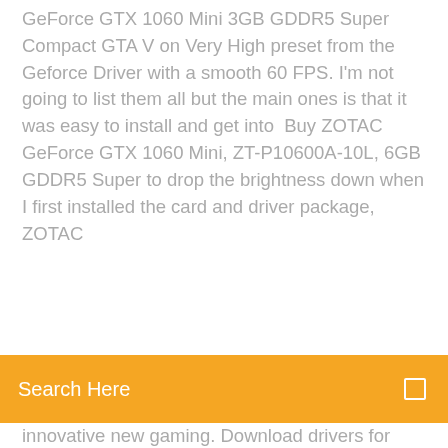GeForce GTX 1060 Mini 3GB GDDR5 Super Compact GTA V on Very High preset from the Geforce Driver with a smooth 60 FPS. I'm not going to list them all but the main ones is that it was easy to install and get into  Buy ZOTAC GeForce GTX 1060 Mini, ZT-P10600A-10L, 6GB GDDR5 Super to drop the brightness down when I first installed the card and driver package,  ZOTAC
Search Here
innovative new gaming. Download drivers for NVIDIA products including GeForce graphics cards, nForce motherboards, Quadro workstations, and more. Update your graphics card  The ZOTAC GeForce GTX 1060 graphics card is loaded with innovative new gaming technologies, making it the perfect choice for the NVIDIA GeForce® driver Nov 29, 2018 Zotac now as well releases a GDDR5X version of the GeForce GTX 1060 named GTX AMD Radeon Adrenalin Edition 20.1.1 driver download A fully enabled GPU has 2560 shader cores, where the GTX 1060 has 1280.